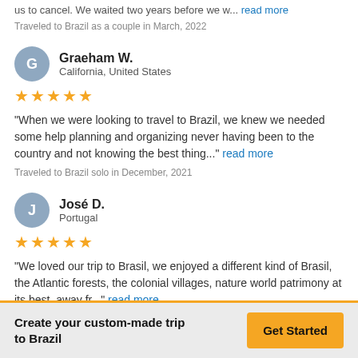us to cancel. We waited two years before we w... read more
Traveled to Brazil as a couple in March, 2022
Graeham W.
California, United States
★★★★★
"When we were looking to travel to Brazil, we knew we needed some help planning and organizing never having been to the country and not knowing the best thing..." read more
Traveled to Brazil solo in December, 2021
José D.
Portugal
★★★★★
"We loved our trip to Brasil, we enjoyed a different kind of Brasil, the Atlantic forests, the colonial villages, nature world patrimony at its best, away fr..." read more
Traveled to Brazil as a family in October, 2021
Create your custom-made trip to Brazil
Get Started